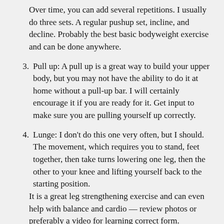Over time, you can add several repetitions. I usually do three sets. A regular pushup set, incline, and decline. Probably the best basic bodyweight exercise and can be done anywhere.
3. Pull up: A pull up is a great way to build your upper body, but you may not have the ability to do it at home without a pull-up bar. I will certainly encourage it if you are ready for it. Get input to make sure you are pulling yourself up correctly.
4. Lunge: I don’t do this one very often, but I should. The movement, which requires you to stand, feet together, then take turns lowering one leg, then the other to your knee and lifting yourself back to the starting position.
It is a great leg strengthening exercise and can even help with balance and cardio — review photos or preferably a video for learning correct form.
5. Dip: Dips are relatively difficult and shouldn’t be done unless you have some assistance to